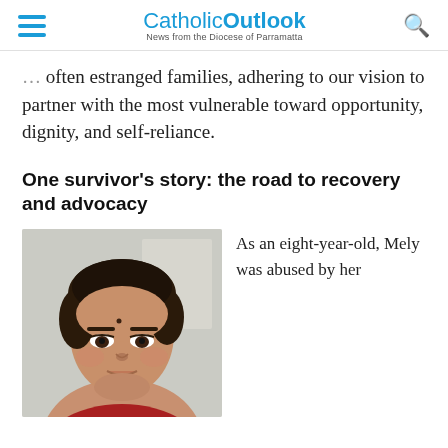Catholic Outlook — News from the Diocese of Parramatta
often estranged families, adhering to our vision to partner with the most vulnerable toward opportunity, dignity, and self-reliance.
One survivor's story: the road to recovery and advocacy
[Figure (photo): Close-up photo of a young Asian woman with dark hair pulled back, looking directly at the camera, wearing a red top. Background is blurred indoor setting.]
As an eight-year-old, Mely was abused by her